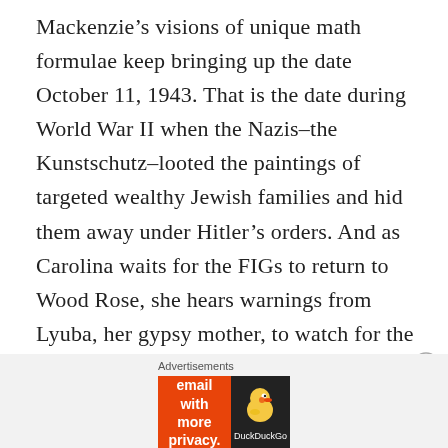Mackenzie's visions of unique math formulae keep bringing up the date October 11, 1943. That is the date during World War II when the Nazis–the Kunstschutz–looted the paintings of targeted wealthy Jewish families and hid them away under Hitler's orders. And as Carolina waits for the FIGs to return to Wood Rose, she hears warnings from Lyuba, her gypsy mother, to watch for the nightjar, the ancient name for the whip-poor-will.
Advertisements
[Figure (other): DuckDuckGo advertisement banner: orange background on left with text 'Search, browse, and email with more privacy. All in One Free App' and DuckDuckGo logo on dark right panel.]